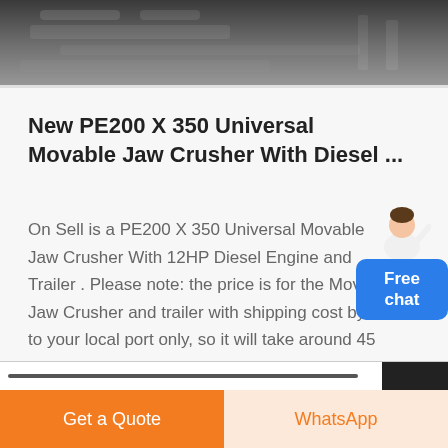[Figure (photo): Industrial machinery/equipment photo banner at top of page]
New PE200 X 350 Universal Movable Jaw Crusher With Diesel ...
On Sell is a PE200 X 350 Universal Movable Jaw Crusher With 12HP Diesel Engine and Trailer . Please note: the price is for the Movable Jaw Crusher and trailer with shipping cost by sea to your local port only, so it will take around 45 days for shipping. the ...